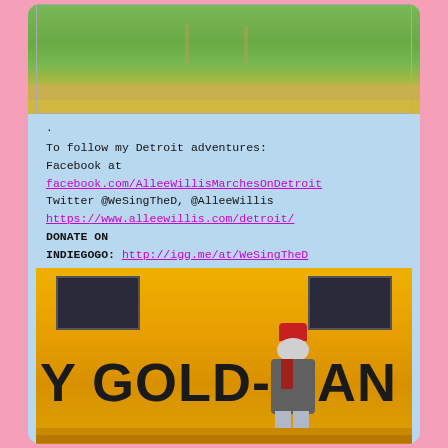[Figure (photo): Outdoor photo showing green grass lawn with dandelions and a sidewalk in the background]
.
To follow my Detroit adventures:
Facebook at
facebook.com/AlleeWillisMarchesOnDetroit
Twitter @WeSingTheD, @AlleeWillis
https://www.alleewillis.com/detroit/
DONATE ON
INDIEGOGO: http://igg.me/at/WeSingTheD
[Figure (photo): Person wearing red hat and gray jacket standing in front of a yellow building with large black text reading 'Y GOLD-MAN']